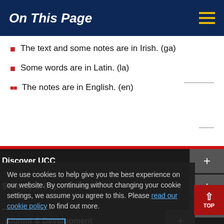On This Page
The text and some notes are in Irish. (ga)
Some words are in Latin. (la)
The notes are in English. (en)
Discover UCC
Schools & Departments
Business & Enterprise
We use cookies to help give you the best experience on our website. By continuing without changing your cookie settings, we assume you agree to this. Please read our cookie policy to find out more.
Alumni & Development
Close
Home